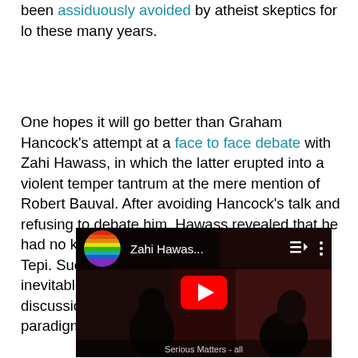been assiduously avoided by atheist skeptics for lo these many years.
One hopes it will go better than Graham Hancock's attempt at a face to face debate with Zahi Hawass, in which the latter erupted into a violent temper tantrum at the mere mention of Robert Bauval. After avoiding Hancock's talk and refusing to debate him, Hawass revealed that he had no knowledge of the discoveries of Göbekli Tepi. Such ignorance over matters of fact is the inevitable result of refusal to engage in discussion of anything that challenges your paradigm. How embarrassing.
[Figure (screenshot): Embedded YouTube video thumbnail showing 'Zahi Hawas...' with a dark scene, YouTube play button, and colorful YouTube logo circle.]